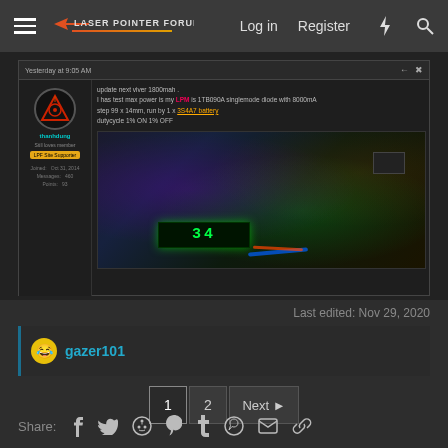Laser Pointer Forums — Log in  Register
[Figure (screenshot): Screenshot of a forum post by user 'thanhdung' showing text about testing max power with a 1TB090A singlemode diode at 8000mA, step 99 x 14mm, run by 1 x 3S4A7 battery, dutycycle 1% ON 1% OFF. Includes a photo of laser electronics with a green digital display reading '34'.]
Last edited: Nov 29, 2020
gazer101
1  2  Next
You must log in or register to reply here.
Share: (facebook) (twitter) (reddit) (pinterest) (tumblr) (whatsapp) (email) (link)